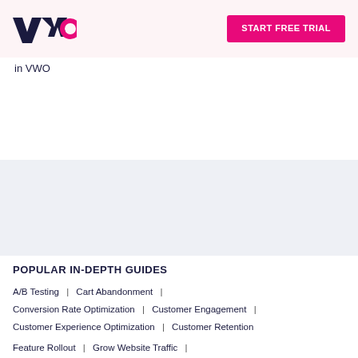VWO | START FREE TRIAL
in VWO
POPULAR IN-DEPTH GUIDES
A/B Testing | Cart Abandonment |
Conversion Rate Optimization | Customer Engagement |
Customer Experience Optimization | Customer Retention
Feature Rollout | Grow Website Traffic |
Landing Page Optimization | Mobile App A/B Testing |
Multivariate Testing | Push Notifications